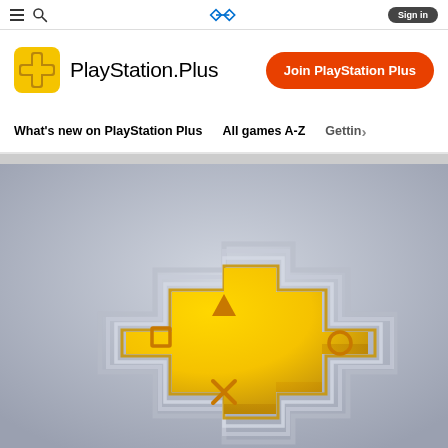Sign in
PlayStation Plus
Join PlayStation Plus
What's new on PlayStation Plus   All games A-Z   Gettin>
[Figure (logo): PlayStation Plus 3D logo — a golden cross/plus shape with PlayStation button symbols (triangle, circle, X, square) on a grey gradient background, with layered grey contour rings around the cross shape.]